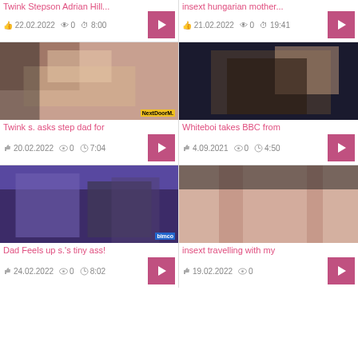Twink Stepson Adrian Hill
22.02.2022  0  8:00
insext hungarian mother
21.02.2022  0  19:41
[Figure (photo): Close-up of hands on bare skin, massage scene, NextDoorM watermark]
Twink s. asks step dad for
20.02.2022  0  7:04
[Figure (photo): Two people in dark room]
Whiteboi takes BBC from
4.09.2021  0  4:50
[Figure (photo): Man in purple jacket with another person on bed, bimco watermark]
Dad Feels up s.'s tiny ass!
24.02.2022  0  8:02
[Figure (photo): Intimate photo scene]
insext travelling with my
19.02.2022  0